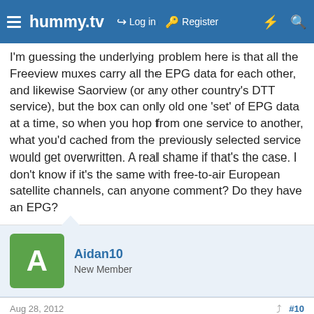hummy.tv — Log in   Register
I'm guessing the underlying problem here is that all the Freeview muxes carry all the EPG data for each other, and likewise Saorview (or any other country's DTT service), but the box can only old one 'set' of EPG data at a time, so when you hop from one service to another, what you'd cached from the previously selected service would get overwritten. A real shame if that's the case. I don't know if it's the same with free-to-air European satellite channels, can anyone comment? Do they have an EPG?
Aidan10
New Member
Aug 28, 2012    #10
This site uses cookies to help personalise content, tailor your experience and to keep you logged in if you register.
By continuing to use this site, you are consenting to our use of cookies.